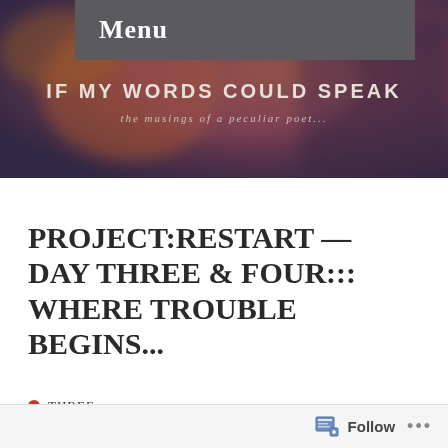Menu
[Figure (photo): Blurred warm-toned background photograph with purple, orange and brown hues serving as hero banner for the blog 'IF MY WORDS COULD SPEAK — the musings of a peculiar poet...']
PROJECT:RESTART — DAY THREE & FOUR::: WHERE TROUBLE BEGINS...
THREE
Follow ...